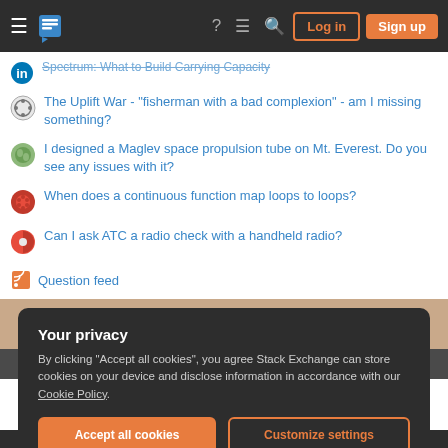Stack Exchange navigation bar with Log in and Sign up buttons
The Uplift War - "fisherman with a bad complexion" - am I missing something?
I designed a Maglev space propulsion tube on Mt. Everest. Do you see any issues with it?
When does a continuous function map loops to loops?
Can I ask ATC a radio check with a handheld radio?
Question feed
Your privacy

By clicking "Accept all cookies", you agree Stack Exchange can store cookies on your device and disclose information in accordance with our Cookie Policy.
Accept all cookies | Customize settings